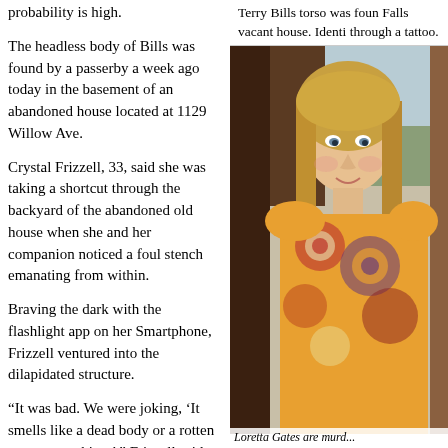probability is high.
The headless body of Bills was found by a passerby a week ago today in the basement of an abandoned house located at 1129 Willow Ave.
Crystal Frizzell, 33, said she was taking a shortcut through the backyard of the abandoned old house when she and her companion noticed a foul stench emanating from within.
Braving the dark with the flashlight app on her Smartphone, Frizzell ventured into the dilapidated structure.
“It was bad. We were joking, ‘It smells like a dead body or a rotten cat or something,’ ” Frizzell said. “I looked, and when I turned to the basement to
Terry Bills torso was foun Falls vacant house. Identi through a tattoo.
[Figure (photo): Photo of a blonde woman wearing a colorful patterned top, smiling at the camera.]
Loretta Gates are murd...